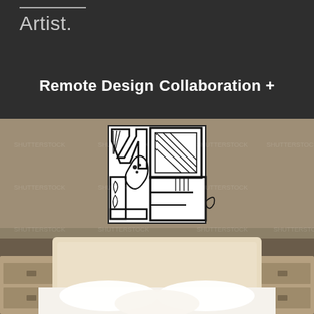Artist.
Remote Design Collaboration +
[Figure (photo): Hotel bedroom scene with a custom black-and-white graphic art canvas hung above the headboard, showing abstract letter-like shapes (V, O, L, E) with decorative line patterns. The room has a beige wall, white bedding, white pillows, and two wooden nightstands.]